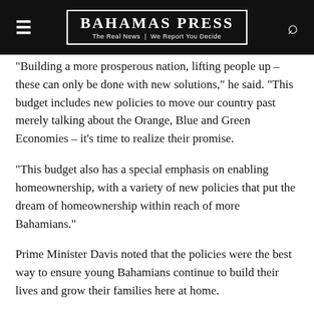BAHAMAS PRESS | The Real News | We Report You Decide
“Building a more prosperous nation, lifting people up – these can only be done with new solutions,” he said. “This budget includes new policies to move our country past merely talking about the Orange, Blue and Green Economies – it’s time to realize their promise.
“This budget also has a special emphasis on enabling homeownership, with a variety of new policies that put the dream of homeownership within reach of more Bahamians.”
Prime Minister Davis noted that the policies were the best way to ensure young Bahamians continue to build their lives and grow their families here at home.
“And security, of course, must be prioritized alongside relief and opportunity, because when our neighborhoods are not safe,